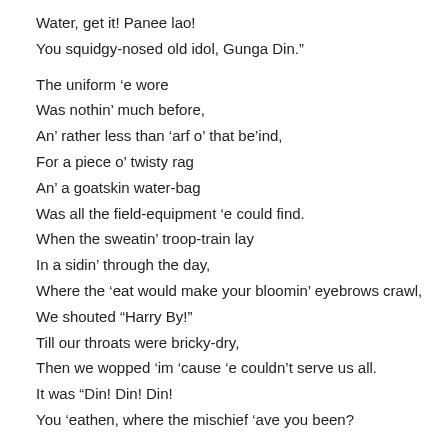Water, get it! Panee lao!
You squidgy-nosed old idol, Gunga Din."
The uniform ‘e wore
Was nothin’ much before,
An’ rather less than ‘arf o’ that be’ind,
For a piece o’ twisty rag
An’ a goatskin water-bag
Was all the field-equipment ‘e could find.
When the sweatin’ troop-train lay
In a sidin’ through the day,
Where the ‘eat would make your bloomin’ eyebrows crawl,
We shouted “Harry By!”
Till our throats were bricky-dry,
Then we wopped ‘im ‘cause ‘e couldn’t serve us all.
It was “Din! Din! Din!
You ‘eathen, where the mischief ‘ave you been?